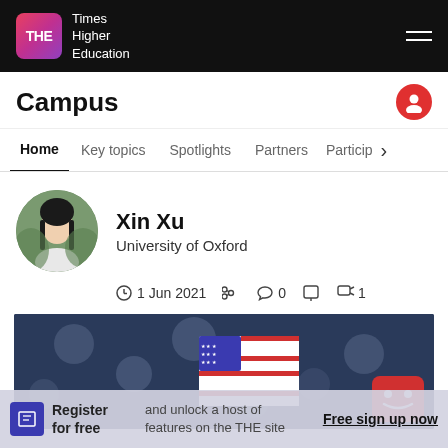THE Times Higher Education
Campus
Home | Key topics | Spotlights | Partners | Particip…
[Figure (photo): Profile photo of Xin Xu, a woman with long dark hair wearing a white top, circular cropped headshot]
Xin Xu
University of Oxford
1 Jun 2021  ♡ 0  1
[Figure (photo): Blurred background photo with a US flag block/cube in the center]
Register for free and unlock a host of features on the THE site
Free sign up now